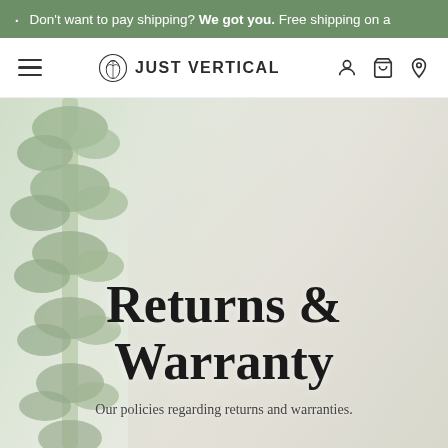. Don't want to pay shipping? We got you. Free shipping on a
JUST VERTICAL
[Figure (photo): Hero banner showing a woman tending to a tall vertical indoor plant tower/garden. The background is light and airy with greenery on the left side. Text overlay reads 'Returns & Warranty' with subtitle 'Our policies regarding returns and warranties.']
Returns & Warranty
Our policies regarding returns and warranties.